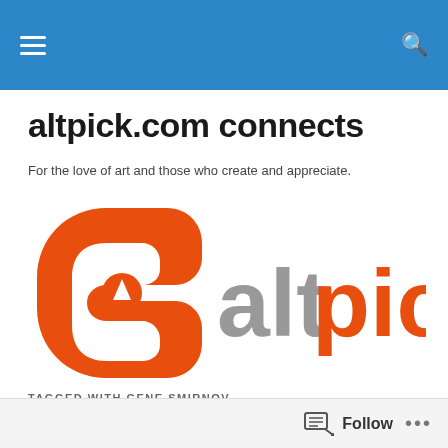altpick.com connects — navigation header bar
altpick.com connects
For the love of art and those who create and appreciate.
[Figure (logo): altpick logo — orange stylized icon on the left, gray 'alt' text and orange 'pick' text on the right]
TAGGED WITH GENE SMIRNOV
Valentine's Day Wishes from Altpick Members!
Follow